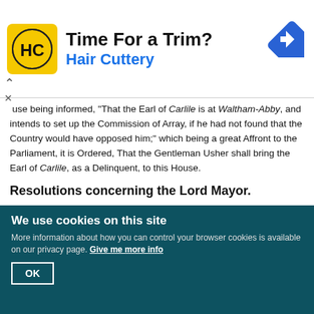[Figure (advertisement): Hair Cuttery advertisement banner with yellow logo showing HC initials, text 'Time For a Trim? Hair Cuttery', and a blue navigation/directions icon.]
use being informed, "That the Earl of Carlile is at Waltham-Abby, and intends to set up the Commission of Array, if he had not found that the Country would have opposed him;" which being a great Affront to the Parliament, it is Ordered, That the Gentleman Usher shall bring the Earl of Carlile, as a Delinquent, to this House.
Resolutions concerning the Lord Mayor.
Next, the House took into Consideration the Evidence given against the Lord Mayor of London, upon the Impeachments brought up from the House of Commons; and, after a mature Deliberation of the whole Matter, whether it be sit or safe that (fn. 1) he be Governor of the City at this Time; and the House gave these Resolutions, as followeth, concerning the Matter of Fact:
"1. Resolved, upon the Question,
We use cookies on this site
More information about how you can control your browser cookies is available on our privacy page. Give me more info
OK